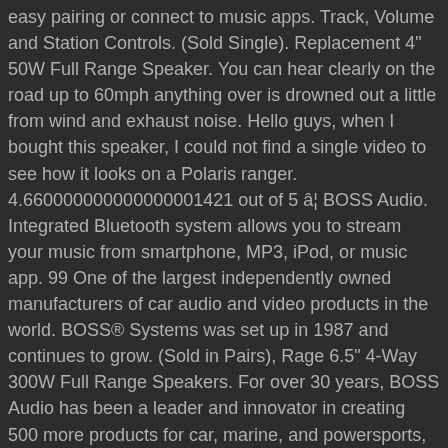easy pairing or connect to music apps. Track, Volume and Station Controls. (Sold Single). Replacement 4" 50W Full Range Speaker. You can hear clearly on the road up to 60mph anything over is drowned out a little from wind and exhaust noise. Hello guys, when I bought this speaker, I could not find a single video to see how it looks on a Polaris ranger. 4.660000000000000001421 out of 5 â¦ BOSS Audio. Integrated Bluetooth system allows you to stream your music from smartphone, MP3, iPod, or music app. 99 One of the largest independently owned manufacturers of car audio and video products in the world. BOSS® Systems was set up in 1987 and continues to grow. (Sold in Pairs), Rage 6.5" 4-Way 300W Full Range Speakers. For over 30 years, BOSS Audio has been a leader and innovator in creating 500 more products for car, marine, and powersports, all sold in 130 countries, both in storefront retailers and online. (Sold in Pairs), Chaos Exxtreme 6.5" 2-Way 200W Full Range Speakers. (Sold in Pairs), 7.5" 2-Way 400W Marine Full Range Speakers. Shop for boss speakers at Best Buy. (Sold in Pairs), Phantom Skull 6" x 9" 3-Way 600W Full Range Speakers.